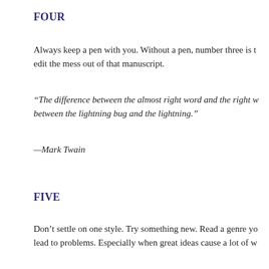FOUR
Always keep a pen with you. Without a pen, number three is to edit the mess out of that manuscript.
“The difference between the almost right word and the right w… between the lightning bug and the lightning.”
—Mark Twain
FIVE
Don’t settle on one style. Try something new. Read a genre yo… lead to problems. Especially when great ideas cause a lot of w…